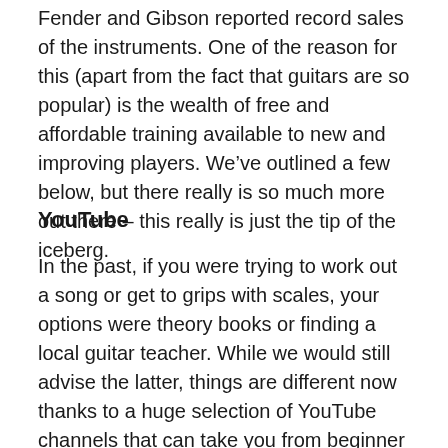Fender and Gibson reported record sales of the instruments. One of the reason for this (apart from the fact that guitars are so popular) is the wealth of free and affordable training available to new and improving players. We've outlined a few below, but there really is so much more out there – this really is just the tip of the iceberg.
YouTube
In the past, if you were trying to work out a song or get to grips with scales, your options were theory books or finding a local guitar teacher. While we would still advise the latter, things are different now thanks to a huge selection of YouTube channels that can take you from beginner to a shred master. Whether it's music theory, soloing techniques, mastering basic chords or anything else related to